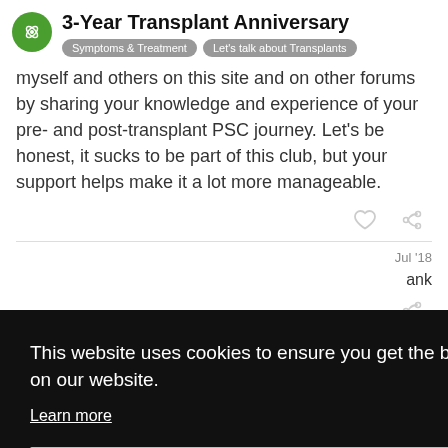3-Year Transplant Anniversary
Symptoms & Treatment  Let's talk about Transplants
myself and others on this site and on other forums by sharing your knowledge and experience of your pre- and post-transplant PSC journey. Let's be honest, it sucks to be part of this club, but your support helps make it a lot more manageable.
Jul '18
ank
This website uses cookies to ensure you get the best experience on our website.
Learn more
Got it!